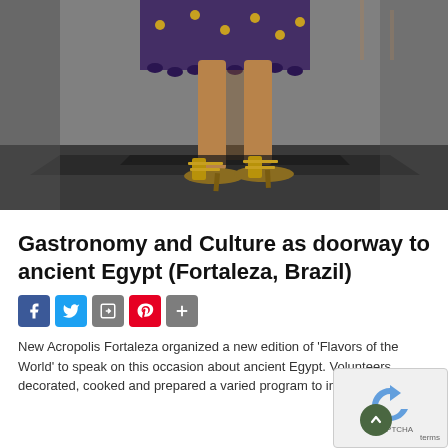[Figure (photo): Photo of a person's legs and feet wearing gold strappy high heels on a dark stage floor, with a purple/dark feathered skirt visible above, in what appears to be an indoor venue with grey carpet.]
Gastronomy and Culture as doorway to ancient Egypt (Fortaleza, Brazil)
[Figure (infographic): Social media sharing icons: Facebook (blue), Twitter (light blue), Share (grey), Pinterest (red), Plus (grey)]
New Acropolis Fortaleza organized a new edition of 'Flavors of the World' to speak on this occasion about ancient Egypt. Volunteers decorated, cooked and prepared a varied program to introd...